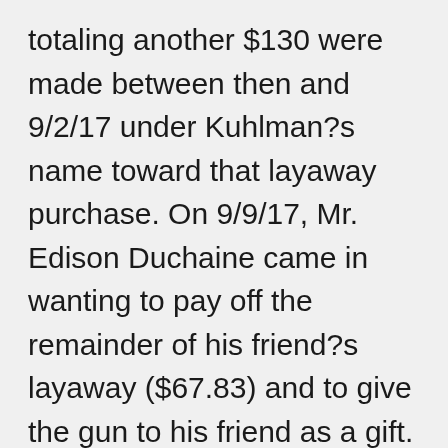totaling another $130 were made between then and 9/2/17 under Kuhlman?s name toward that layaway purchase. On 9/9/17, Mr. Edison Duchaine came in wanting to pay off the remainder of his friend?s layaway ($67.83) and to give the gun to his friend as a gift. According to Justin, he and Jon had the customer read the 4473 description of a bona fide gift. I think because layaway payments